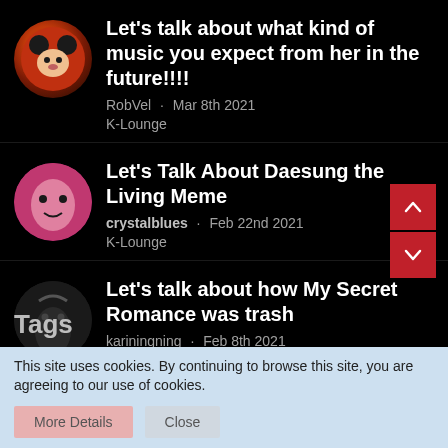Let's talk about what kind of music you expect from her in the future!!!!
RobVel · Mar 8th 2021
K-Lounge
Let's Talk About Daesung the Living Meme
crystalblues · Feb 22nd 2021
K-Lounge
Let's talk about how My Secret Romance was trash
kariningning · Feb 8th 2021
K-Dramas & Movies
Tags
This site uses cookies. By continuing to browse this site, you are agreeing to our use of cookies.
More Details   Close